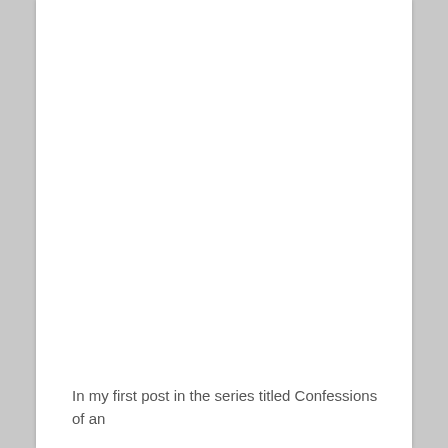In my first post in the series titled Confessions of an